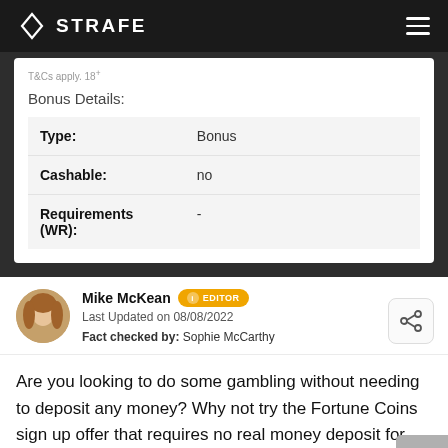STRAFE
T&Cs apply. 18+
Bonus Details:
|  |  |
| --- | --- |
| Type: | Bonus |
| Cashable: | no |
| Requirements (WR): | - |
Mike McKean  EDITOR
Last Updated on 08/08/2022
Fact checked by: Sophie McCarthy
Are you looking to do some gambling without needing to deposit any money? Why not try the Fortune Coins sign up offer that requires no real money deposit for you to gain a